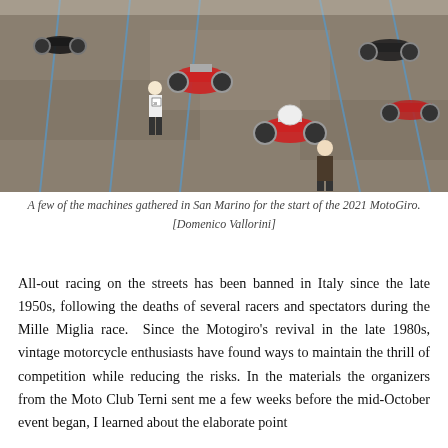[Figure (photo): Aerial/overhead view of vintage motorcycles and people gathered in a parking lot in San Marino for the start of the 2021 MotoGiro. Several red and chrome classic motorcycles are visible, along with riders and spectators on a paved surface with blue parking lines.]
A few of the machines gathered in San Marino for the start of the 2021 MotoGiro. [Domenico Vallorini]
All-out racing on the streets has been banned in Italy since the late 1950s, following the deaths of several racers and spectators during the Mille Miglia race. Since the Motogiro's revival in the late 1980s, vintage motorcycle enthusiasts have found ways to maintain the thrill of competition while reducing the risks. In the materials the organizers from the Moto Club Terni sent me a few weeks before the mid-October event began, I learned about the elaborate point